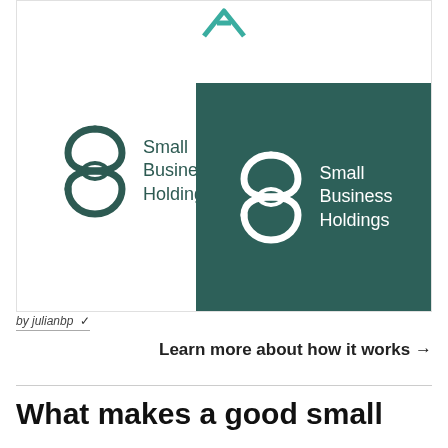[Figure (logo): Small Business Holdings logo on white background — stylized interlocking S letterform in dark teal, beside text 'Small Business Holdings']
[Figure (logo): Small Business Holdings logo on dark teal background — same stylized interlocking S letterform in white, beside white text 'Small Business Holdings']
by julianbp ✓
Learn more about how it works →
What makes a good small